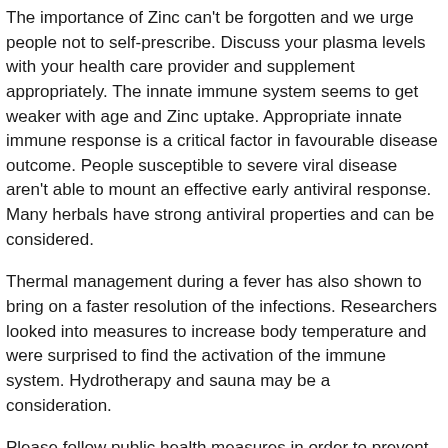The importance of Zinc can't be forgotten and we urge people not to self-prescribe. Discuss your plasma levels with your health care provider and supplement appropriately. The innate immune system seems to get weaker with age and Zinc uptake. Appropriate innate immune response is a critical factor in favourable disease outcome. People susceptible to severe viral disease aren't able to mount an effective early antiviral response. Many herbals have strong antiviral properties and can be considered.
Thermal management during a fever has also shown to bring on a faster resolution of the infections. Researchers looked into measures to increase body temperature and were surprised to find the activation of the immune system. Hydrotherapy and sauna may be a consideration.
Please follow public health measures in order to prevent infections. Stay committed by observing distance, hygiene, ventilate your home and wear a mask when needed.
Stay healthy and contact us for an appointment to discuss your